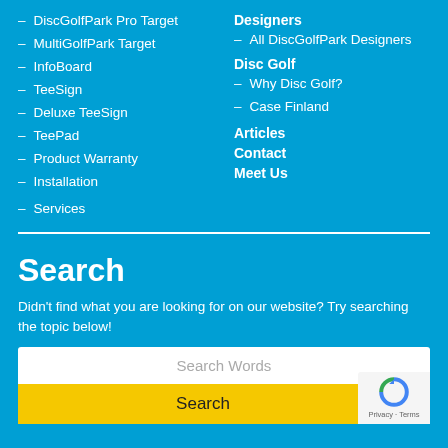– DiscGolfPark Pro Target
– MultiGolfPark Target
– InfoBoard
– TeeSign
– Deluxe TeeSign
– TeePad
– Product Warranty
– Installation
– Services
Designers
– All DiscGolfPark Designers
Disc Golf
– Why Disc Golf?
– Case Finland
Articles
Contact
Meet Us
Search
Didn't find what you are looking for on our website? Try searching the topic below!